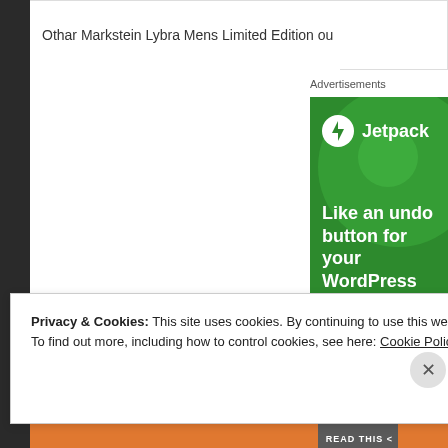Othar Markstein Lybra Mens Limited Edition ou
Advertisements
[Figure (screenshot): Jetpack advertisement - green background with logo and tagline 'Like an undo button for your WordPress site' and a 'Back up your site' button]
Privacy & Cookies: This site uses cookies. By continuing to use this website, you agree to their use.
To find out more, including how to control cookies, see here: Cookie Policy
Close and accept